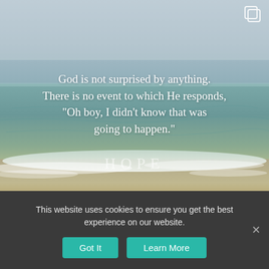[Figure (photo): Ocean scene with overcast sky, calm sea water in blue-green tones, and sandy shoreline with waves. White quote text overlaid: 'God is not surprised by anything. There is no event to which He responds, "Oh boy, I didn't know that was going to happen."' Semi-transparent HOPE watermark near bottom. Copy icon in top-right corner.]
This website uses cookies to ensure you get the best experience on our website.
Got It   Learn More